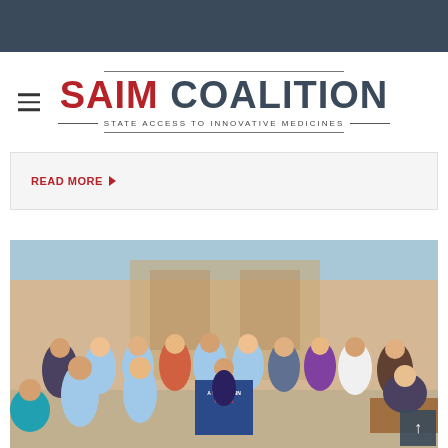[Figure (logo): SAIM Coalition logo — STATE ACCESS TO INNOVATIVE MEDICINES]
Read more ▶
[Figure (photo): Outdoor press conference with a large group of people, some wearing light blue t-shirts with red heart logos, standing behind a podium reading 'A WISCONSIN FOR US'. An official appears to be signing a document at a desk on the right.]